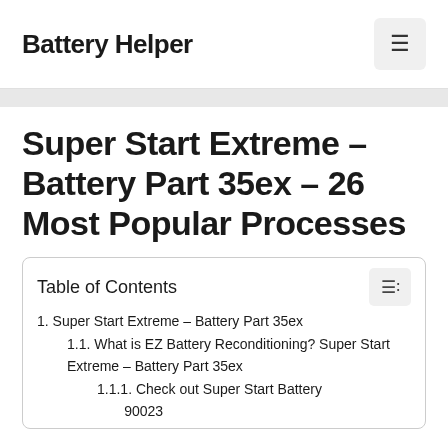Battery Helper
Super Start Extreme – Battery Part 35ex – 26 Most Popular Processes
| 1. Super Start Extreme – Battery Part 35ex |
| 1.1. What is EZ Battery Reconditioning? Super Start Extreme – Battery Part 35ex |
| 1.1.1. Check out Super Start Battery 90023 |